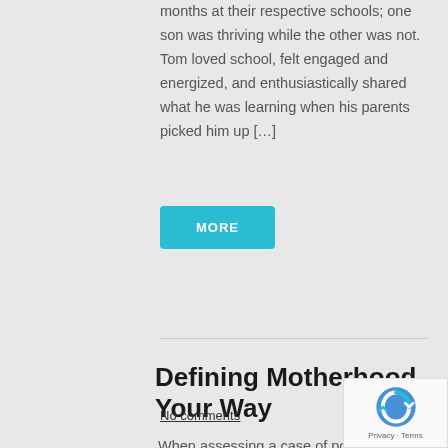months at their respective schools; one son was thriving while the other was not. Tom loved school, felt engaged and energized, and enthusiastically shared what he was learning when his parents picked him up […]
MORE
Defining Motherhood Your Way
No comments
When assessing a case of postpartum depression, I focus on the woman's state of mind before, during, and after she gives birth. By talking with many new moms, I have found that the blues are attributable to disappointed expectations and overwhelming responsibilities related to childcare, work demands, partnership challenges, and household chores. A common feature of depressive episodes is a pervasive